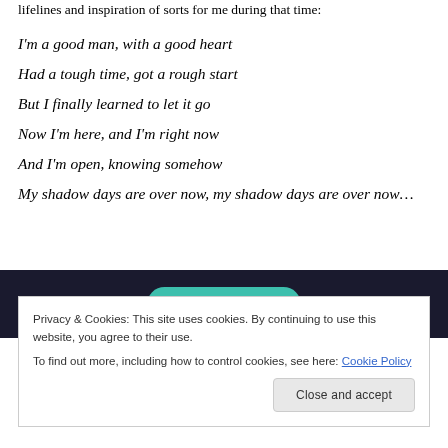lifelines and inspiration of sorts for me during that time:
I'm a good man, with a good heart
Had a tough time, got a rough start
But I finally learned to let it go
Now I'm here, and I'm right now
And I'm open, knowing somehow
My shadow days are over now, my shadow days are over now…
[Figure (screenshot): Dark banner with a teal 'Learn More' button]
Privacy & Cookies: This site uses cookies. By continuing to use this website, you agree to their use. To find out more, including how to control cookies, see here: Cookie Policy
Close and accept